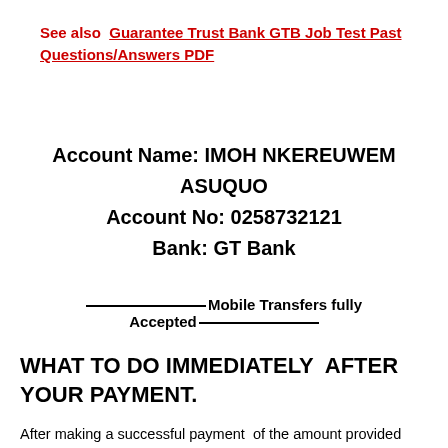See also  Guarantee Trust Bank GTB Job Test Past Questions/Answers PDF
Account Name: IMOH NKEREUWEM ASUQUO
Account No: 0258732121
Bank: GT Bank
________________Mobile Transfers fully Accepted________________
WHAT TO DO IMMEDIATELY  AFTER YOUR PAYMENT.
After making a successful payment  of the amount provided